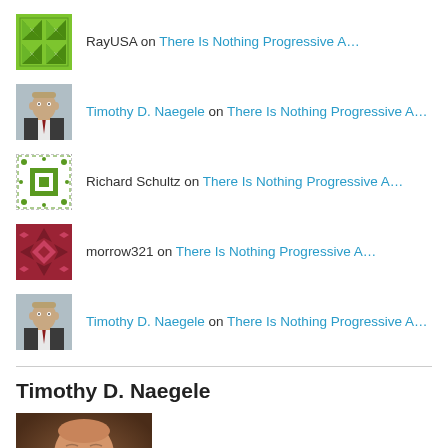RayUSA on There Is Nothing Progressive A…
Timothy D. Naegele on There Is Nothing Progressive A…
Richard Schultz on There Is Nothing Progressive A…
morrow321 on There Is Nothing Progressive A…
Timothy D. Naegele on There Is Nothing Progressive A…
Timothy D. Naegele
[Figure (photo): Portrait photo of Timothy D. Naegele, a middle-aged bald man in a suit, smiling]